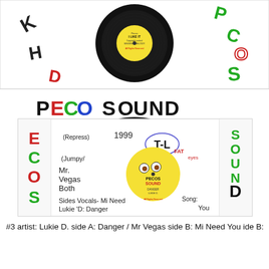[Figure (photo): A vinyl 7-inch record with a yellow label showing 'I Like It / Singing Melody / All Rights Reserved', surrounded by hand-drawn colorful letters spelling out 'K H D P E C O S' on a white background]
[Figure (photo): A vinyl record sleeve for Pecos Sound label, handwritten annotations reading '(Repress) 1999 T-L Jumpy/ Mr. Vegas Both Sides Vocals - Mi Need You, Lukie D: Danger', with a cartoon face on the yellow record label, FAT eyes text, and colorful side panels reading 'ECOS' and 'SOUND']
#3 artist: Lukie D. side A: Danger / Mr Vegas side B: Mi Need You ide B: